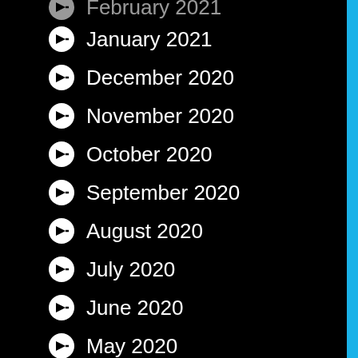February 2021 (partial, top)
January 2021
December 2020
November 2020
October 2020
September 2020
August 2020
July 2020
June 2020
May 2020
April 2020
March 2020
February 2020 (partial, bottom)